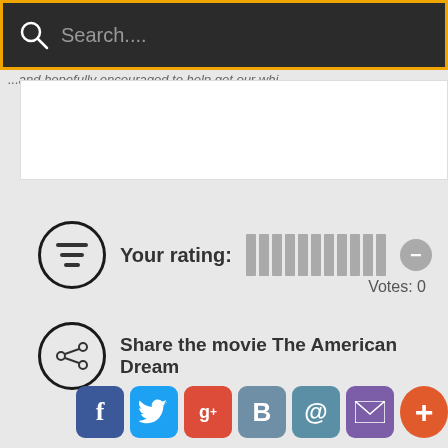Search....
...and hopefully encouraged to help get our whi...
Your rating:  Votes: 0
Share the movie The American Dream
[Figure (screenshot): Social sharing buttons: Facebook (f), Twitter (bird), Google+ (g+), Blogger (B), Email (@), Mail (envelope), More (+)]